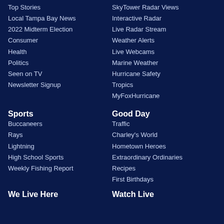Top Stories
Local Tampa Bay News
2022 Midterm Election
Consumer
Health
Politics
Seen on TV
Newsletter Signup
SkyTower Radar Views
Interactive Radar
Live Radar Stream
Weather Alerts
Live Webcams
Marine Weather
Hurricane Safety
Tropics
MyFoxHurricane
Sports
Buccaneers
Rays
Lightning
High School Sports
Weekly Fishing Report
Good Day
Traffic
Charley's World
Hometown Heroes
Extraordinary Ordinaries
Recipes
First Birthdays
We Live Here
Watch Live